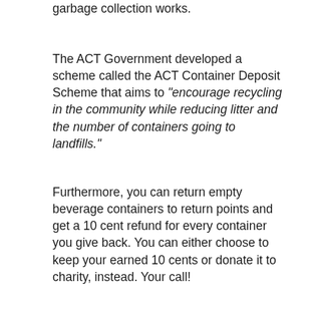garbage collection works.
The ACT Government developed a scheme called the ACT Container Deposit Scheme that aims to “encourage recycling in the community while reducing litter and the number of containers going to landfills.”
Furthermore, you can return empty beverage containers to return points and get a 10 cent refund for every container you give back. You can either choose to keep your earned 10 cents or donate it to charity, instead. Your call!